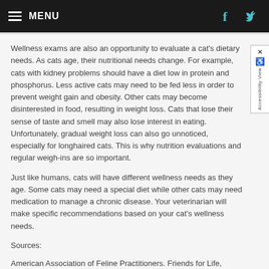MENU
Wellness exams are also an opportunity to evaluate a cat's dietary needs. As cats age, their nutritional needs change. For example, cats with kidney problems should have a diet low in protein and phosphorus. Less active cats may need to be fed less in order to prevent weight gain and obesity. Other cats may become disinterested in food, resulting in weight loss. Cats that lose their sense of taste and smell may also lose interest in eating. Unfortunately, gradual weight loss can also go unnoticed, especially for longhaired cats. This is why nutrition evaluations and regular weigh-ins are so important.
Just like humans, cats will have different wellness needs as they age. Some cats may need a special diet while other cats may need medication to manage a chronic disease. Your veterinarian will make specific recommendations based on your cat's wellness needs.
Sources:
American Association of Feline Practitioners. Friends for Life, Caring for your Older Cat.